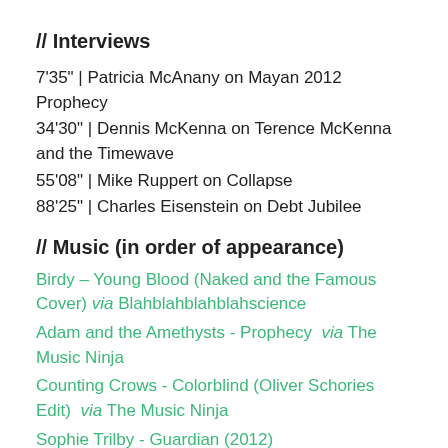// Interviews
7'35" | Patricia McAnany on Mayan 2012 Prophecy
34'30" | Dennis McKenna on Terence McKenna and the Timewave
55'08" | Mike Ruppert on Collapse
88'25" | Charles Eisenstein on Debt Jubilee
// Music (in order of appearance)
Birdy – Young Blood (Naked and the Famous Cover) via Blahblahblahblahscience
Adam and the Amethysts - Prophecy via The Music Ninja
Counting Crows - Colorblind (Oliver Schories Edit) via The Music Ninja
Sophie Trilby - Guardian (2012)